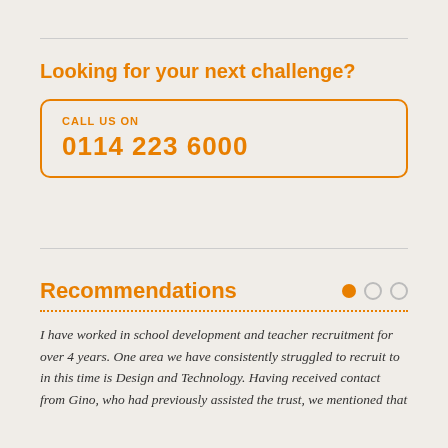Looking for your next challenge?
CALL US ON
0114 223 6000
Recommendations
I have worked in school development and teacher recruitment for over 4 years. One area we have consistently struggled to recruit to in this time is Design and Technology. Having received contact from Gino, who had previously assisted the trust, we mentioned that